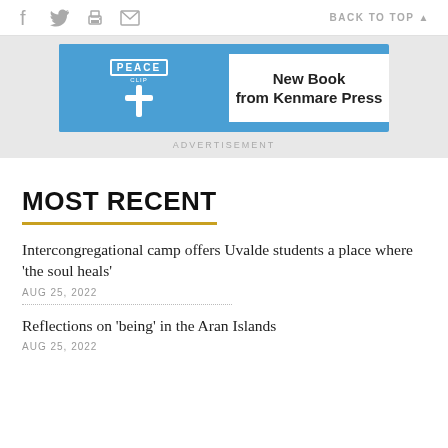f  (twitter)  (print)  (mail)    BACK TO TOP ▲
[Figure (screenshot): Advertisement banner with blue background, PEACE logo on left, white panel on right showing 'New Book from Kenmare Press']
ADVERTISEMENT
MOST RECENT
Intercongregational camp offers Uvalde students a place where 'the soul heals'
AUG 25, 2022
Reflections on 'being' in the Aran Islands
AUG 25, 2022